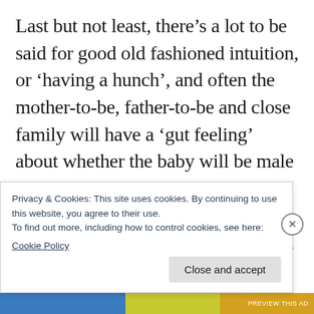Last but not least, there’s a lot to be said for good old fashioned intuition, or ‘having a hunch’, and often the mother-to-be, father-to-be and close family will have a ‘gut feeling’ about whether the baby will be male or female. But are they right? As there’s no scientific basis to this, the answers are little more than guesses, but we thought it would be interesting to see whether in our case any of the hunches came out as correct.
Privacy & Cookies: This site uses cookies. By continuing to use this website, you agree to their use.
To find out more, including how to control cookies, see here:
Cookie Policy